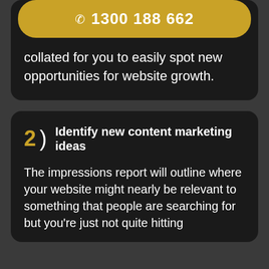[Figure (infographic): Golden phone button with phone icon and number 1300 188 662]
collated for you to easily spot new opportunities for website growth.
2 ) Identify new content marketing ideas
The impressions report will outline where your website might nearly be relevant to something that people are searching for but you're just not quite hitting